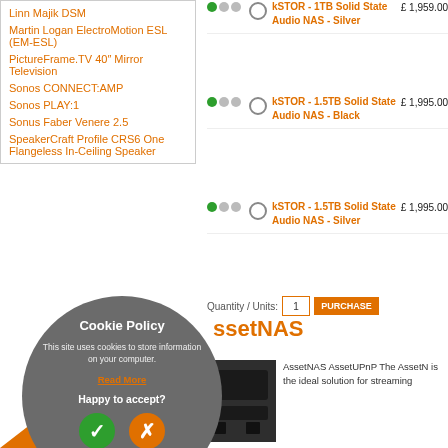Linn Majik DSM
Martin Logan ElectroMotion ESL (EM-ESL)
PictureFrame.TV 40″ Mirror Television
Sonos CONNECT:AMP
Sonos PLAY:1
Sonus Faber Venere 2.5
SpeakerCraft Profile CRS6 One Flangeless In-Ceiling Speaker
kSTOR - 1TB Solid State Audio NAS - Silver £ 1,959.00
kSTOR - 1.5TB Solid State Audio NAS - Black £ 1,995.00
kSTOR - 1.5TB Solid State Audio NAS - Silver £ 1,995.00
Quantity / Units: 1  PURCHASE
ssetNAS
AssetNAS AssetUPnP The AssetN is the ideal solution for streaming
Cookie Policy
This site uses cookies to store information on your computer.
Read More
Happy to accept?